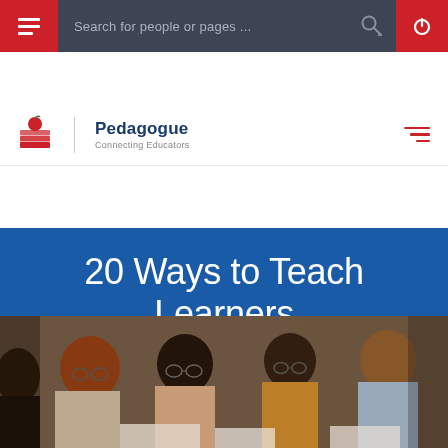Search for people or pages ...
[Figure (logo): Pedagogue Connecting Educators logo with apple and books icon]
20 Ways to Teach Learners Not to Use Profanity
Home / Academic and Behavioral Interventions
[Figure (photo): Group of diverse college-age students studying together at a table, some wearing glasses, in a library or classroom setting]